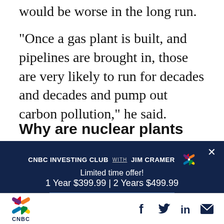would be worse in the long run.
“Once a gas plant is built, and pipelines are brought in, those are very likely to run for decades and decades and pump out carbon pollution,” he said.
Why are nuclear plants losing money?
[Figure (infographic): CNBC Investing Club with Jim Cramer advertisement overlay on dark navy background. Shows 'Limited time offer! 1 Year $399.99 | 2 Years $499.99' and a 'BECOME A MEMBER' button. Close X button in top right.]
CNBC logo with social media icons: Facebook, Twitter, LinkedIn, Email